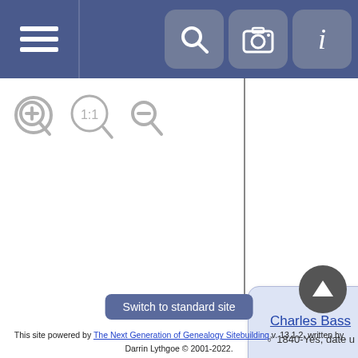[Figure (screenshot): Genealogy website screenshot showing a family tree viewer. Top navigation bar with hamburger menu and icons for search, camera, and info. Zoom controls below nav bar. Partial organizational chart showing 'Charles Bass' node connected to 'Louisa' node below it. Switch to standard site button. Footer with copyright info.]
This site powered by The Next Generation of Genealogy Sitebuilding v. 13.1.2, written by Darrin Lythgoe © 2001-2022.